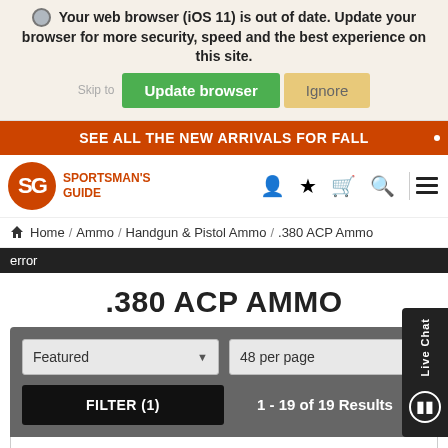Your web browser (iOS 11) is out of date. Update your browser for more security, speed and the best experience on this site.
Update browser | Ignore
SEE ALL THE NEW ARRIVALS FOR FALL
[Figure (logo): Sportsman's Guide logo with SG in orange circle and orange text]
Home / Ammo / Handgun & Pistol Ammo / .380 ACP Ammo
error
.380 ACP AMMO
Featured | 48 per page
FILTER (1) | 1 - 19 of 19 Results